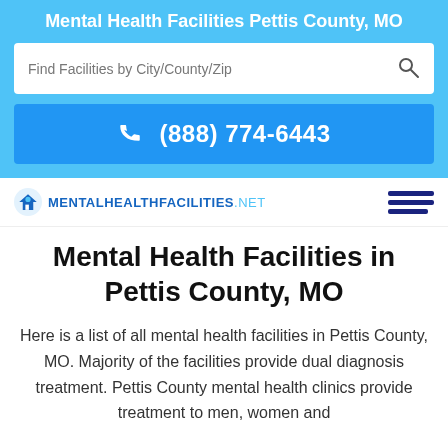Mental Health Facilities Pettis County, MO
Find Facilities by City/County/Zip
(888) 774-6443
[Figure (logo): MentalHealthFacilities.net logo with house icon]
Mental Health Facilities in Pettis County, MO
Here is a list of all mental health facilities in Pettis County, MO. Majority of the facilities provide dual diagnosis treatment. Pettis County mental health clinics provide treatment to men, women and